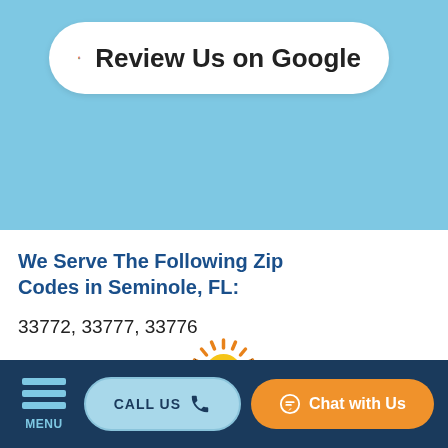[Figure (logo): Google 'G' logo button with text 'Review Us on Google' on white rounded pill background against light blue background]
We Serve The Following Zip Codes in Seminole, FL:
33772, 33777, 33776
[Figure (logo): Tropical logo with palm trees, sun, and island scene in black, yellow and orange colors]
MENU
CALL US
Chat with Us